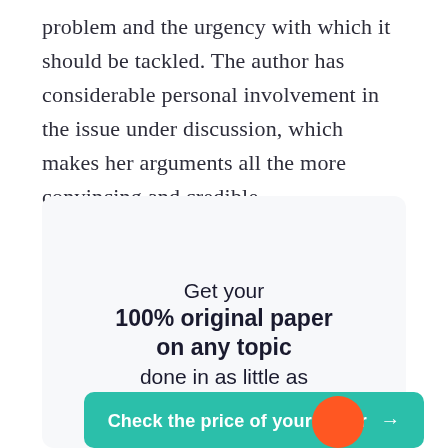problem and the urgency with which it should be tackled. The author has considerable personal involvement in the issue under discussion, which makes her arguments all the more convincing and credible.
[Figure (infographic): Promotional card with text: 'Get your 100% original paper on any topic done in as little as 3 hours' and a teal 'Check the price of your paper →' button]